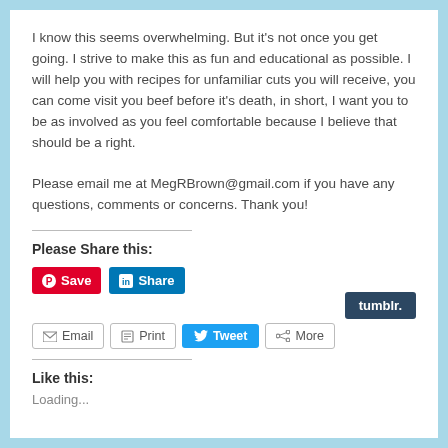I know this seems overwhelming. But it's not once you get going. I strive to make this as fun and educational as possible. I will help you with recipes for unfamiliar cuts you will receive, you can come visit you beef before it's death, in short, I want you to be as involved as you feel comfortable because I believe that should be a right.

Please email me at MegRBrown@gmail.com if you have any questions, comments or concerns. Thank you!
Please Share this:
[Figure (screenshot): Social share buttons: Pinterest Save, LinkedIn Share, Tumblr, Email, Print, Tweet, More]
Like this:
Loading...